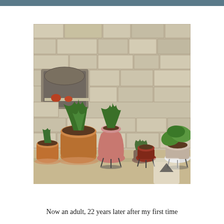[Figure (photo): A stone wall with an arched niche and several potted plants arranged on a ledge at its base. The pots include terracotta and ceramic containers with green leafy plants, herbs, and flowering plants.]
Now an adult, 22 years later after my first time